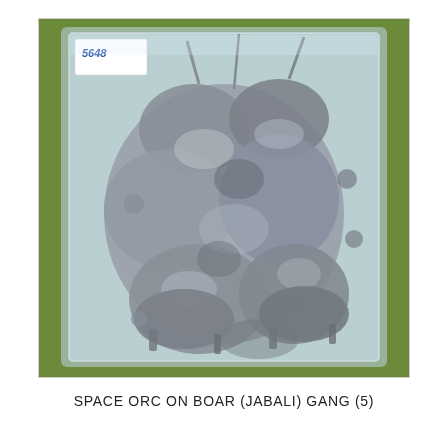[Figure (photo): A blister pack of unpainted metal miniatures — Space Orc on Boar (Jabali) Gang set of 5 figures. The miniatures are grey metal and depicted as orc-like figures riding boars, arranged in a clear plastic blister tray, placed on a green textured (grass-like) background. A white price/code sticker reading '5648' is in the upper-left corner of the blister.]
SPACE ORC ON BOAR (JABALI) GANG (5)